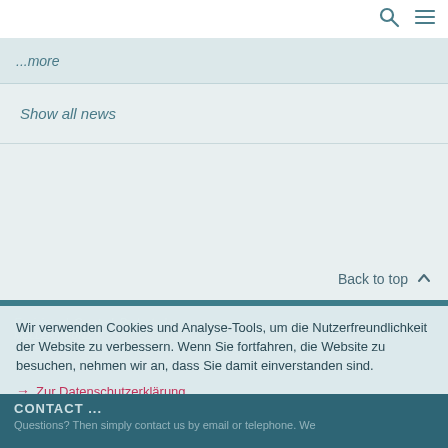...more
Show all news
Back to top
Wir verwenden Cookies und Analyse-Tools, um die Nutzerfreundlichkeit der Website zu verbessern. Wenn Sie fortfahren, die Website zu besuchen, nehmen wir an, dass Sie damit einverstanden sind.
→ Zur Datenschutzerklärung
✕ ZUSTIMMEN
CONTACT ...
Questions? Then simply contact us by email or telephone. We